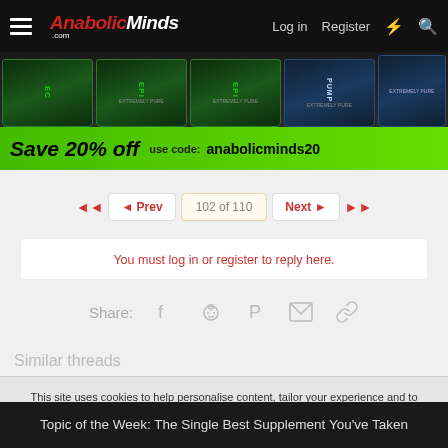AnabolicMinds.com — Log in | Register
[Figure (photo): Advertisement banner showing supplement bottles (ECA, EPI, PUMP labels) with green bar: Save 20% off use code: anabolicminds20]
◄◄   ◄ Prev   102 of 110   Next ►   ►►
You must log in or register to reply here.
Share:  [Facebook] [Reddit] [Pinterest] [Email] [Link]
Similar threads
This site uses cookies to help personalise content, tailor your experience and to keep you logged in if you register.
By continuing to use this site, you are consenting to our use of cookies.
✓ Accept   Learn more...
Topic of the Week: The Single Best Supplement You've Taken